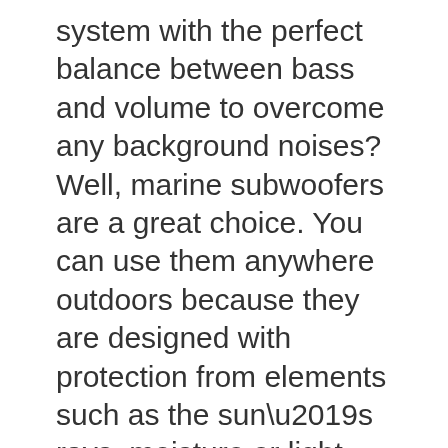system with the perfect balance between bass and volume to overcome any background noises? Well, marine subwoofers are a great choice. You can use them anywhere outdoors because they are designed with protection from elements such as the sun’s rays, moisture or light rain.
Marine subwoofers are mostly designed for baffle installations and free air mounting. These are most common in boats because you need